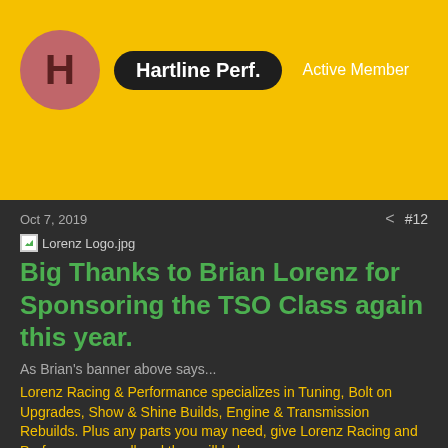Hartline Perf. | Active Member
Oct 7, 2019  #12
[Figure (photo): Broken image placeholder labeled Lorenz Logo.jpg]
Big Thanks to Brian Lorenz for Sponsoring the TSO Class again this year.
As Brian's banner above says...
Lorenz Racing & Performance specializes in Tuning, Bolt on Upgrades, Show & Shine Builds, Engine & Transmission Rebuilds. Plus any parts you may need, give Lorenz Racing and Performance a call and they will help you.
Brian pays extra special attention to every detail on every car that comes to his shop.
Click on this Facebook Page link and you will want to follow his